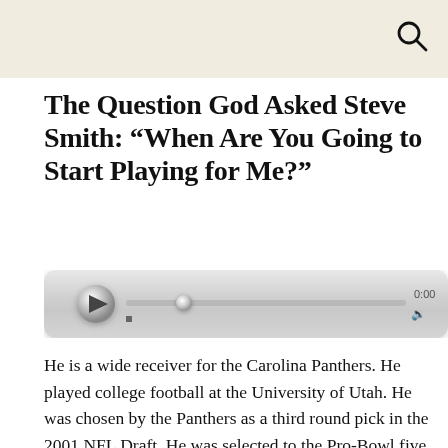The Question God Asked Steve Smith: “When Are You Going to Start Playing for Me?”
[Figure (other): Audio player widget with play button, progress bar with thumb, time display showing 0:00, stop button, and volume icon]
He is a wide receiver for the Carolina Panthers. He played college football at the University of Utah. He was chosen by the Panthers as a third round pick in the 2001 NFL Draft. He was selected to the Pro-Bowl five times and to the All-Pro three times. He is known as one of the most productive wide receivers in the NFL. In 2005, he led the league in receiving yards, catches, and touchdowns. This same year, he was the NFL Alumni Wide Receiver of the Year, AP NFL